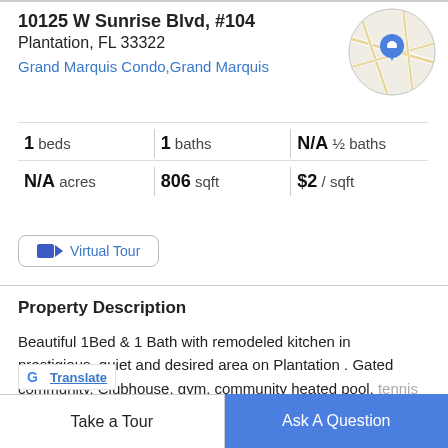10125 W Sunrise Blvd, #104
Plantation, FL 33322
Grand Marquis Condo,Grand Marquis
[Figure (map): Circular map thumbnail showing a street map with a blue location pin marker]
1 beds | 1 baths | N/A ½ baths | N/A acres | 806 sqft | $2 / sqft
Virtual Tour
Property Description
Beautiful 1Bed & 1 Bath with remodeled kitchen in prestigious, quiet and desired area on Plantation . Gated community, Clubhouse, gym, community heated pool, tennis court and dog park. Close to Sawgrass Mall,
Take a Tour
Ask A Question
Translate